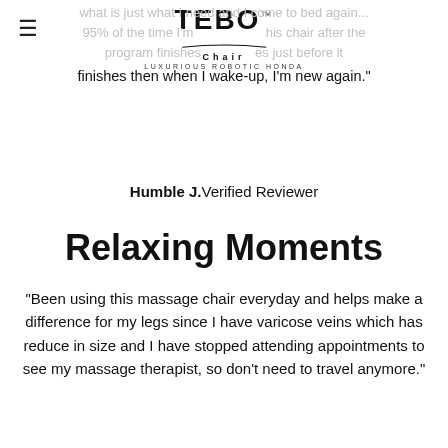TEBO Chair — Luxurious Robotic Honda
95% of the time I'm in this chair after the program finishes just before it finishes then when I wake-up, I'm new again."
Humble J. Verified Reviewer
Relaxing Moments
"Been using this massage chair everyday and helps make a difference for my legs since I have varicose veins which has reduce in size and I have stopped attending appointments to see my massage therapist, so don't need to travel anymore."